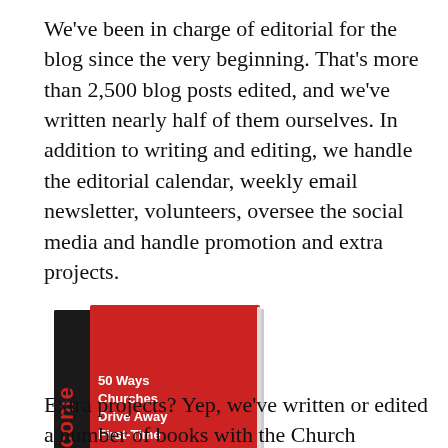We've been in charge of editorial for the blog since the very beginning. That's more than 2,500 blog posts edited, and we've written nearly half of them ourselves. In addition to writing and editing, we handle the editorial calendar, weekly email newsletter, volunteers, oversee the social media and handle promotion and extra projects.
[Figure (photo): Book cover of 'Unwelcome: 50 Ways Churches Drive Away First-Time Visitors' — a red book with a dark spine showing the title 'unwelcome' vertically in white text]
Extra projects? Yep, we've written or edited a number of books with the Church